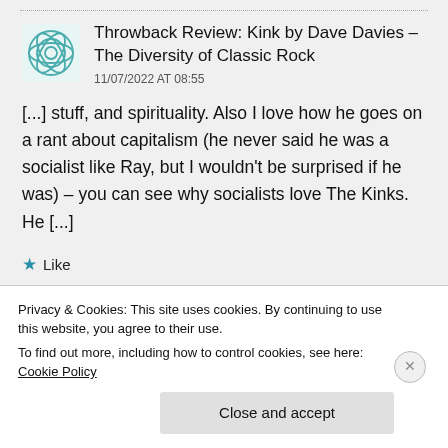Throwback Review: Kink by Dave Davies – The Diversity of Classic Rock
11/07/2022 AT 08:55
[...] stuff, and spirituality. Also I love how he goes on a rant about capitalism (he never said he was a socialist like Ray, but I wouldn't be surprised if he was) – you can see why socialists love The Kinks. He [...]
★ Like
Privacy & Cookies: This site uses cookies. By continuing to use this website, you agree to their use.
To find out more, including how to control cookies, see here: Cookie Policy
Close and accept